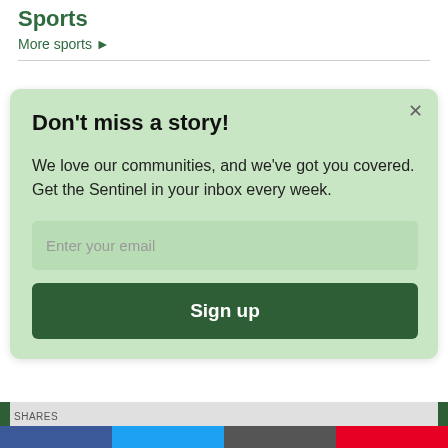Sports
More sports ▶
Don't miss a story!
We love our communities, and we've got you covered. Get the Sentinel in your inbox every week.
Enter your email
Sign up